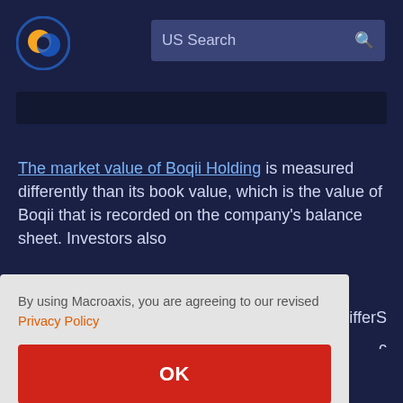[Figure (logo): Macroaxis logo: circular icon with orange and dark blue design]
US Search
The market value of Boqii Holding is measured differently than its book value, which is the value of Boqii that is recorded on the company's balance sheet. Investors also ...differs ...c ...value ...e can ...ct Boqii
By using Macroaxis, you are agreeing to our revised Privacy Policy
OK
Holding's underlying business (such as a pandemic or